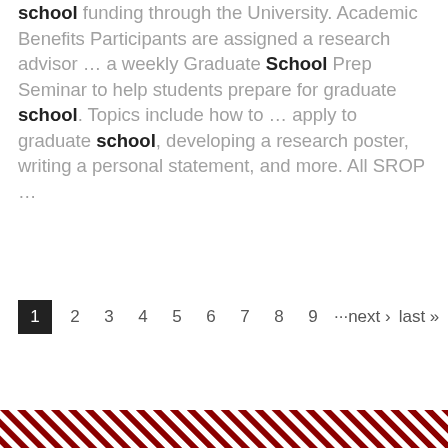school funding through the University. Academic Benefits Participants are assigned a research advisor ... a weekly Graduate School Prep Seminar to help students prepare for graduate school. Topics include how to ... apply to graduate school, developing a research poster, writing a personal statement, and more. All SROP ...
1 2 3 4 5 6 7 8 9 ···next › last »
[Figure (other): Decorative red diagonal stripes footer band]